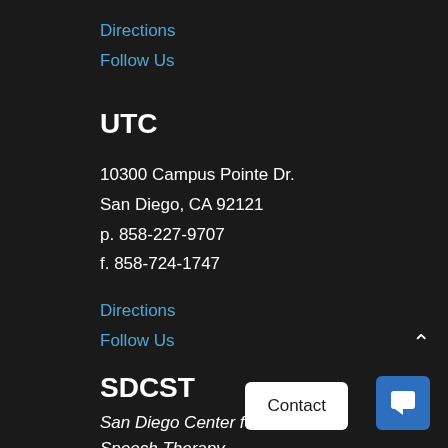Directions
Follow Us
UTC
10300 Campus Pointe Dr.
San Diego, CA 92121
p. 858-227-9707
f. 858-724-1747
Directions
Follow Us
SDCST
San Diego Center for Speech Therapy